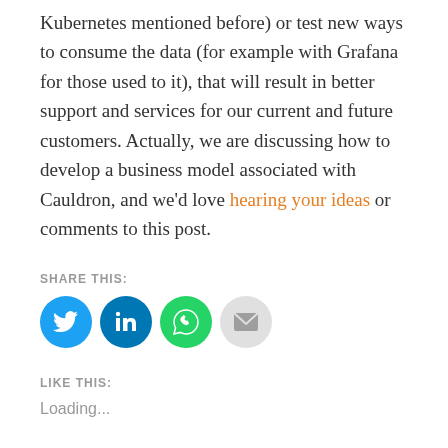Kubernetes mentioned before) or test new ways to consume the data (for example with Grafana for those used to it), that will result in better support and services for our current and future customers. Actually, we are discussing how to develop a business model associated with Cauldron, and we'd love hearing your ideas or comments to this post.
SHARE THIS:
[Figure (infographic): Four social share icon buttons: Twitter (blue circle), LinkedIn (dark blue circle), WhatsApp (green circle), Email (grey circle)]
LIKE THIS:
Loading...